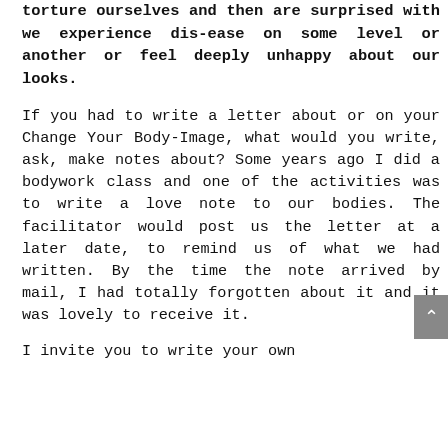torture ourselves and then are surprised with we experience dis-ease on some level or another or feel deeply unhappy about our looks.
If you had to write a letter about or on your Change Your Body-Image, what would you write, ask, make notes about? Some years ago I did a bodywork class and one of the activities was to write a love note to our bodies. The facilitator would post us the letter at a later date, to remind us of what we had written. By the time the note arrived by mail, I had totally forgotten about it and it was lovely to receive it.
I invite you to write your own